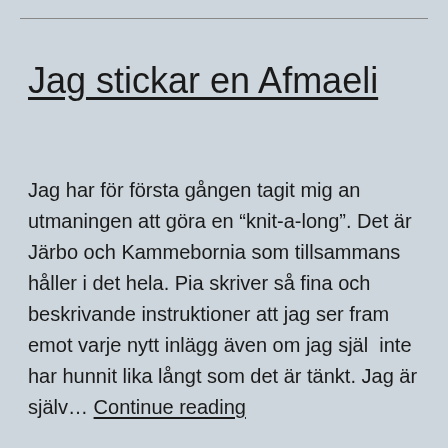Jag stickar en Afmaeli
Jag har för första gången tagit mig an utmaningen att göra en “knit-a-long”. Det är Järbo och Kammebornia som tillsammans håller i det hela. Pia skriver så fina och beskrivande instruktioner att jag ser fram emot varje nytt inlägg även om jag själ  inte har hunnit lika långt som det är tänkt. Jag är själv… Continue reading